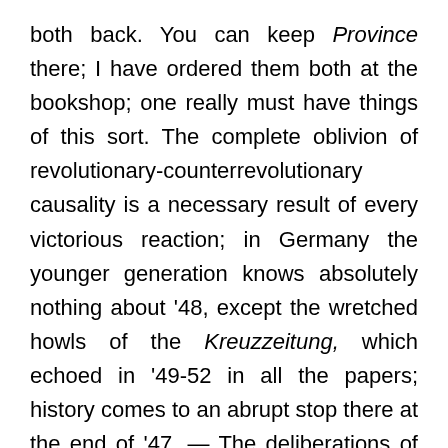both back. You can keep Province there; I have ordered them both at the bookshop; one really must have things of this sort. The complete oblivion of revolutionary-counterrevolutionary causality is a necessary result of every victorious reaction; in Germany the younger generation knows absolutely nothing about '48, except the wretched howls of the Kreuzzeitung, which echoed in '49-52 in all the papers; history comes to an abrupt stop there at the end of '47. — The deliberations of the 10th Mairie are really exquisite; I had never read such a complete version.

By chance I read F. Strohn's obituary in the